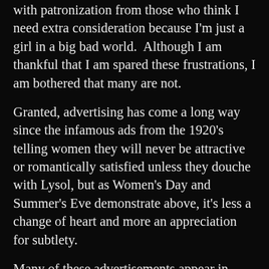with patronization from those who think I need extra consideration because I'm just a girl in a big bad world.  Although I am thankful that I am spared these frustrations, I am bothered that many are not.
Granted, advertising has come a long way since the infamous ads from the 1920's telling women they will never be attractive or romantically satisfied unless they douche with Lysol, but as Women's Day and Summer's Eve demonstrate above, it's less a change of heart and more an appreciation for subtlety.
Many of these advertisements appear in women's magazines – long the domain of such